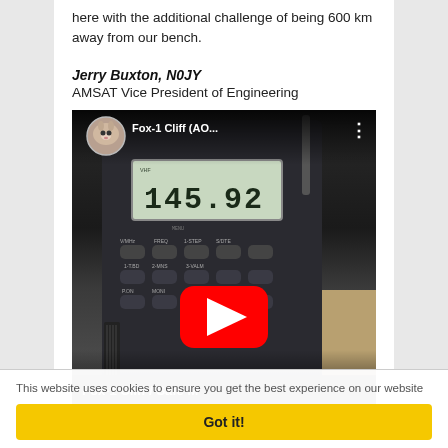here with the additional challenge of being 600 km away from our bench.
Jerry Buxton, N0JY
AMSAT Vice President of Engineering
[Figure (screenshot): YouTube video thumbnail showing a handheld radio transceiver displaying '145.92' on its LCD screen. Top bar shows a cat avatar, channel name 'Fox-1 Cliff (AO...', and a three-dot menu. A red YouTube play button is centered. Bottom bar shows 'Fox-1 Cliff / Safe M'.]
This website uses cookies to ensure you get the best experience on our website
Got it!